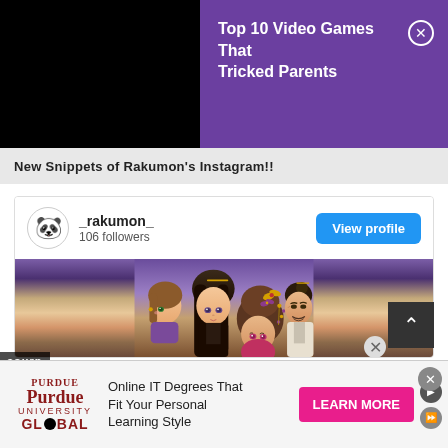[Figure (screenshot): Black region top-left of page]
Top 10 Video Games That Tricked Parents
New Snippets of Rakumon's Instagram!!
_rakumon_
106 followers
View profile
[Figure (illustration): Anime characters from a visual novel/otome game showing multiple characters with traditional Chinese-style hair ornaments and clothing]
sourn
Online IT Degrees That Fit Your Personal Learning Style
LEARN MORE